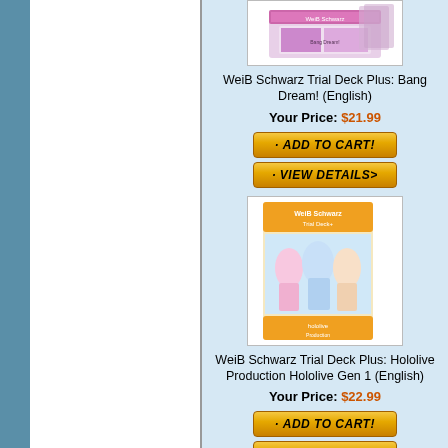[Figure (photo): WeiB Schwarz Trial Deck Plus: Bang Dream! product box image (top, partially cropped)]
WeiB Schwarz Trial Deck Plus: Bang Dream! (English)
Your Price: $21.99
· ADD TO CART!
· VIEW DETAILS>
[Figure (photo): WeiB Schwarz Trial Deck Plus: Hololive Production Hololive Gen 1 product box image]
WeiB Schwarz Trial Deck Plus: Hololive Production Hololive Gen 1 (English)
Your Price: $22.99
· ADD TO CART!
· VIEW DETAILS>